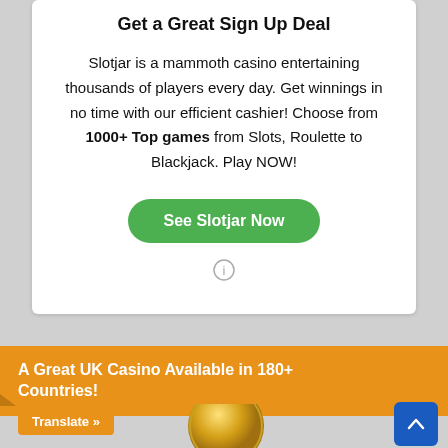Get a Great Sign Up Deal
Slotjar is a mammoth casino entertaining thousands of players every day. Get winnings in no time with our efficient cashier! Choose from 1000+ Top games from Slots, Roulette to Blackjack. Play NOW!
See Slotjar Now
A Great UK Casino Available in 180+ Countries!
Translate »